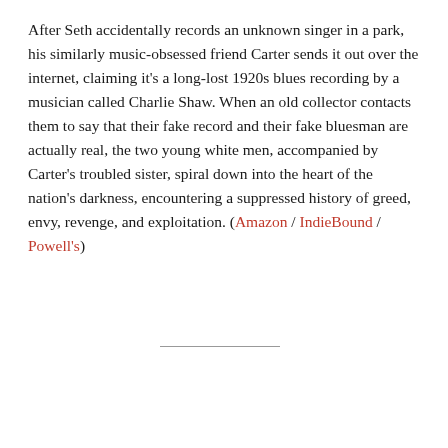After Seth accidentally records an unknown singer in a park, his similarly music-obsessed friend Carter sends it out over the internet, claiming it's a long-lost 1920s blues recording by a musician called Charlie Shaw. When an old collector contacts them to say that their fake record and their fake bluesman are actually real, the two young white men, accompanied by Carter's troubled sister, spiral down into the heart of the nation's darkness, encountering a suppressed history of greed, envy, revenge, and exploitation. (Amazon / IndieBound / Powell's)
[Figure (other): Card widget with red top border containing title 'ToB 2018: Zombie Poll' and social sharing buttons (Facebook Share, Twitter Tweet)]